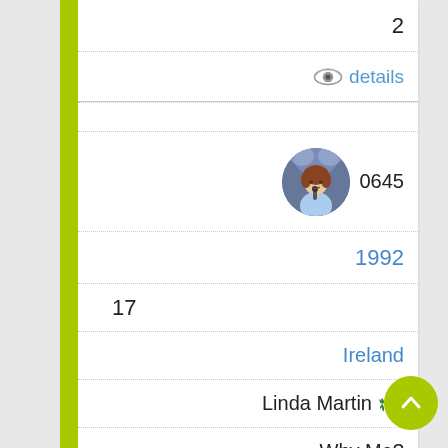2
details
[Figure (photo): Circular portrait photo of Linda Martin singing on stage]
0645
1992
17
Ireland
Linda Martin
Why Me?
155